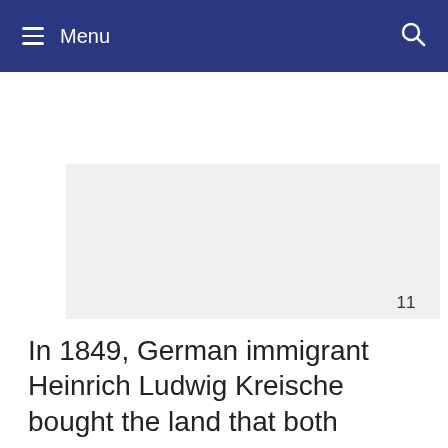Menu
[Figure (photo): Large light gray rectangular image placeholder area]
In 1849, German immigrant Heinrich Ludwig Kreische bought the land that both